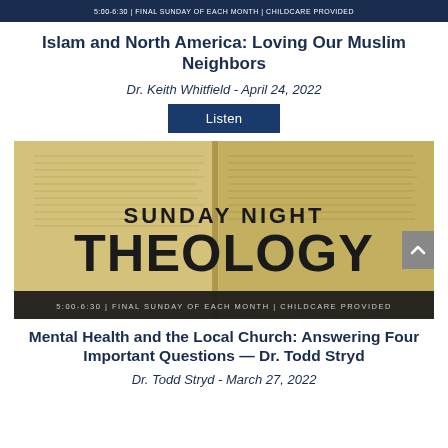5:00-6:30 | FINAL SUNDAY OF EACH MONTH | CHILDCARE PROVIDED
Islam and North America: Loving Our Muslim Neighbors
Dr. Keith Whitfield - April 24, 2022
Listen
[Figure (photo): Sunday Night Theology banner image showing an open Bible with text 'SUNDAY NIGHT THEOLOGY' and '5:00-6:30 | FINAL SUNDAY OF EACH MONTH | CHILDCARE PROVIDED']
Mental Health and the Local Church: Answering Four Important Questions — Dr. Todd Stryd
Dr. Todd Stryd - March 27, 2022